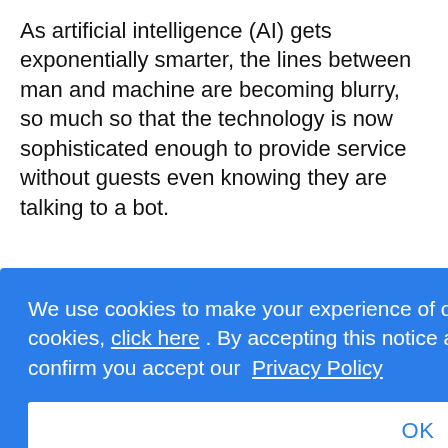As artificial intelligence (AI) gets exponentially smarter, the lines between man and machine are becoming blurry, so much so that the technology is now sophisticated enough to provide service without guests even knowing they are talking to a bot.
Michael Mrini, Director of Information Technology, for
[partial lines visible behind overlay: he, d, not, power, e hosts, lways, staff to, me]
We use cookies to make your experience of our website better. To find out more about cookies, click here . By accepting this notice and continuing to browse our website you confirm you accept our Privacy Policy
OK
empowering guests to have a better or alternative way of